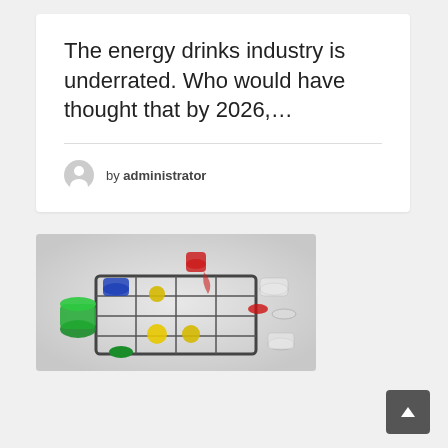The energy drinks industry is underrated. Who would have thought that by 2026,…
by administrator
[Figure (photo): Top-down view of colorful energy drink bottles and shot glasses arranged in a metal laboratory rack/carrier on a light gray background. Bottles include green, blue, yellow, red, and clear/white colored drinks.]